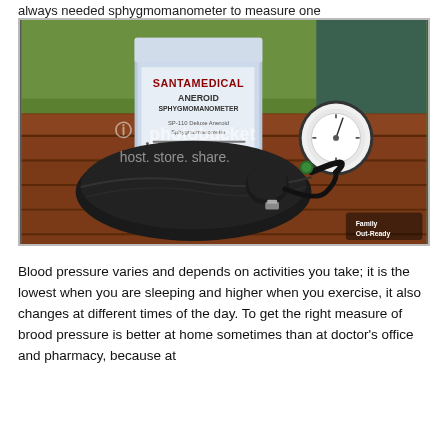always needed sphygmomanometer to measure one
[Figure (photo): A Santamedical aneroid sphygmomanometer (blood pressure cuff and gauge) laid on a wooden table outdoors, next to its product box. Photo includes a Photobucket watermark reading 'host. store. share.']
Blood pressure varies and depends on activities you take; it is the lowest when you are sleeping and higher when you exercise, it also changes at different times of the day. To get the right measure of brood pressure is better at home sometimes than at doctor's office and pharmacy, because at